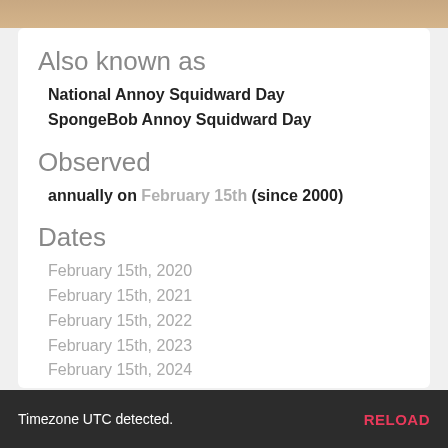[Figure (photo): Top image strip showing partial photo with warm brown/tan tones]
Also known as
National Annoy Squidward Day
SpongeBob Annoy Squidward Day
Observed
annually on February 15th (since 2000)
Dates
February 15th, 2020
February 15th, 2021
February 15th, 2022
February 15th, 2023
February 15th, 2024
Founded by
Timezone UTC detected.  RELOAD